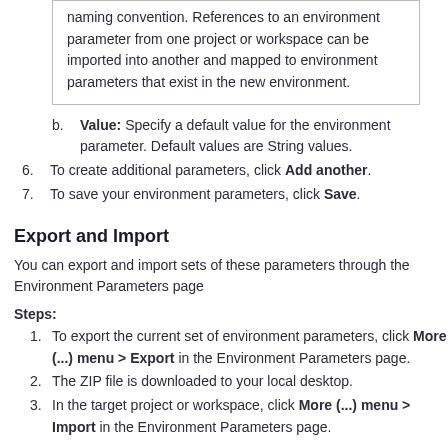naming convention. References to an environment parameter from one project or workspace can be imported into another and mapped to environment parameters that exist in the new environment.
Value: Specify a default value for the environment parameter. Default values are String values.
To create additional parameters, click Add another.
To save your environment parameters, click Save.
Export and Import
You can export and import sets of these parameters through the Environment Parameters page
Steps:
To export the current set of environment parameters, click More (...) menu > Export in the Environment Parameters page.
The ZIP file is downloaded to your local desktop.
In the target project or workspace, click More (...) menu > Import in the Environment Parameters page.